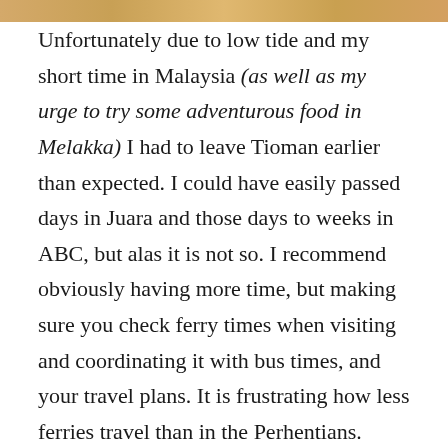[Figure (photo): Partial image strip at the top of the page showing what appears to be a beach or tropical scene in warm tones.]
Unfortunately due to low tide and my short time in Malaysia (as well as my urge to try some adventurous food in Melakka) I had to leave Tioman earlier than expected. I could have easily passed days in Juara and those days to weeks in ABC, but alas it is not so. I recommend obviously having more time, but making sure you check ferry times when visiting and coordinating it with bus times, and your travel plans. It is frustrating how less ferries travel than in the Perhentians. However, the Tioman Islands are not to be missed, there is so much choice and variety in the type of place, accommodation (much more than the Perhentians) and it still has that untouched Asian Tropical beauty of an